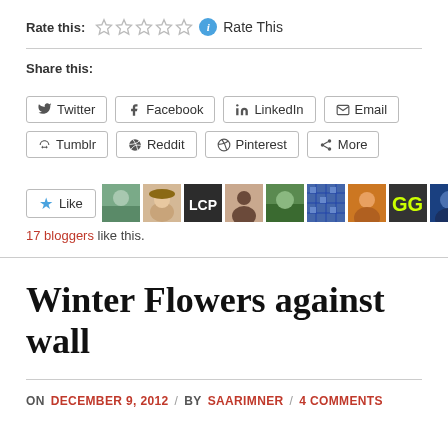Rate this: ☆☆☆☆☆ ℹ Rate This
Share this:
Twitter
Facebook
LinkedIn
Email
Tumblr
Reddit
Pinterest
More
Like  17 bloggers like this.
Winter Flowers against wall
ON DECEMBER 9, 2012 / BY SAARIMNER / 4 COMMENTS